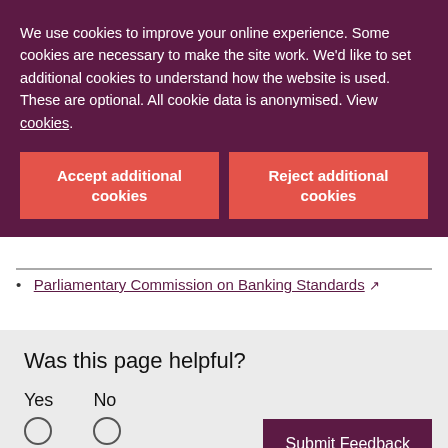We use cookies to improve your online experience. Some cookies are necessary to make the site work. We'd like to set additional cookies to understand how the website is used. These are optional. All cookie data is anonymised. View cookies.
Accept additional cookies
Reject additional cookies
Parliamentary Commission on Banking Standards
Was this page helpful?
Yes
No
Submit Feedback